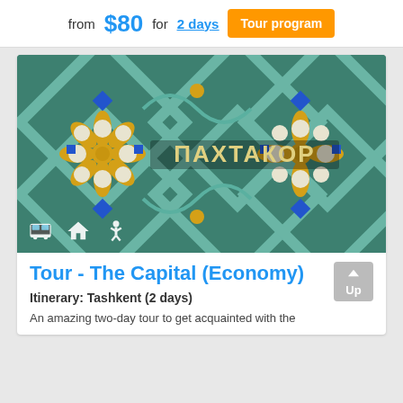from $80 for 2 days  Tour program
[Figure (photo): Decorative tile mosaic with floral patterns in teal, gold and white, with Cyrillic text ПАХТАКОР (Pakhtakor) in the center — a metro station in Tashkent, Uzbekistan.]
Tour - The Capital (Economy)
Itinerary: Tashkent (2 days)
An amazing two-day tour to get acquainted with the